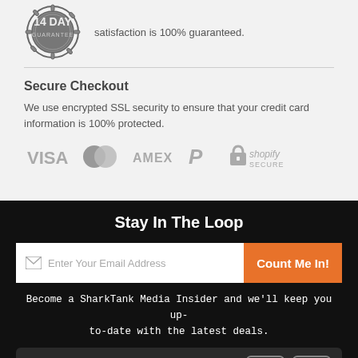[Figure (illustration): 14 DAY GUARANTEE badge/seal in gray with decorative border, partially cropped at top]
satisfaction is 100% guaranteed.
Secure Checkout
We use encrypted SSL security to ensure that your credit card information is 100% protected.
[Figure (illustration): Payment method logos: VISA, Mastercard, AMEX, PayPal, Shopify Secure in gray]
Stay In The Loop
Enter Your Email Address
Count Me In!
Become a SharkTank Media Insider and we'll keep you up-to-date with the latest deals.
Contact
[Figure (illustration): Trust badges row: PCI blue circle, Shopify green bag, 14 day orange circle, green lock circle]